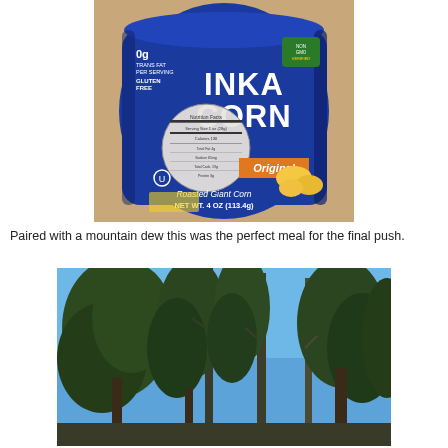[Figure (photo): A blue bag of Inka Corn Roasted Giant Corn, Original flavor, NET WT. 4 OZ (113.4g), showing 0g Trans Fat and Gluten Free labels, with a circular nutrition facts panel on the front.]
Paired with a mountain dew this was the perfect meal for the final push.
[Figure (photo): Tall pine and fir trees photographed from below against a bright blue sky, in a mountain forest setting.]